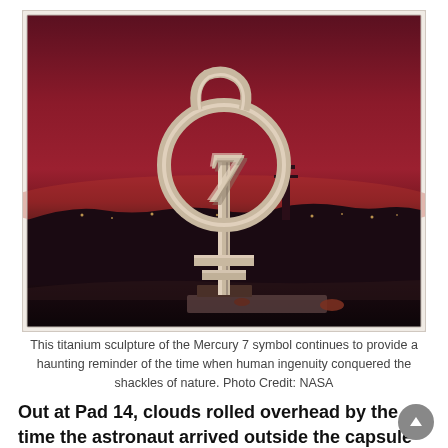[Figure (photo): A titanium sculpture of the Mercury 7 symbol — a stylized female/Venus symbol with a circle, cross, and the number 7 — photographed at dusk/night against a deep red-purple sky. Launch structures and lights are visible in the background. The photo has a warm, vintage color tone.]
This titanium sculpture of the Mercury 7 symbol continues to provide a haunting reminder of the time when human ingenuity conquered the shackles of nature. Photo Credit: NASA
Out at Pad 14, clouds rolled overhead by the time the astronaut arrived outside the capsule at 6:00 am EST